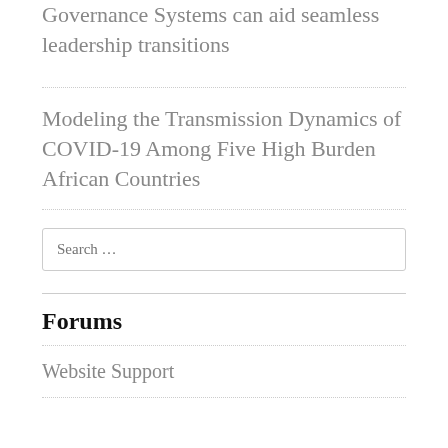Governance Systems can aid seamless leadership transitions
Modeling the Transmission Dynamics of COVID-19 Among Five High Burden African Countries
Search …
Forums
Website Support